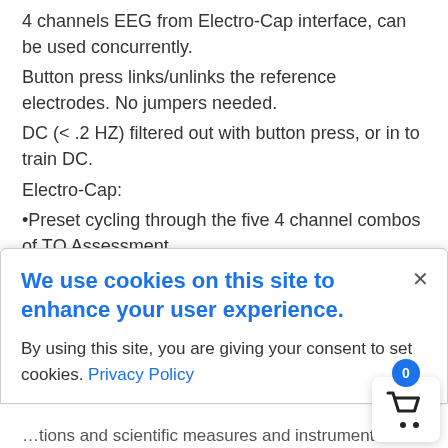4 channels EEG from Electro-Cap interface, can be used concurrently.
Button press links/unlinks the reference electrodes. No jumpers needed.
DC (< .2 HZ) filtered out with button press, or in to train DC.
Electro-Cap:
•Preset cycling through the five 4 channel combos of TQ Assessment.
•Or program your own sequence.
HEG automatically baselined to 100. Can use same design for pIR/nIR.
We use cookies on this site to enhance your user experience.
By using this site, you are giving your consent to set cookies. Privacy Policy